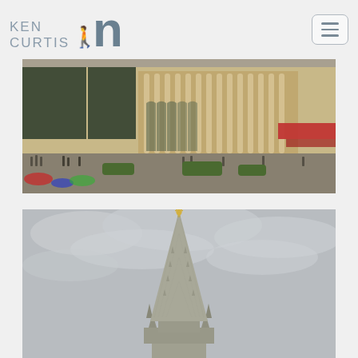Ken Curtis - website header with logo and navigation
[Figure (photo): Wide panoramic photo of Grand Place Brussels showing ornate classical building facades with columns, arched windows, red awning cafes, and crowds of tourists in the square]
[Figure (photo): Photo of gothic church spire or tower steeple against overcast cloudy sky, with a gilded statue at the very top and ornate Gothic architectural details on the spire]